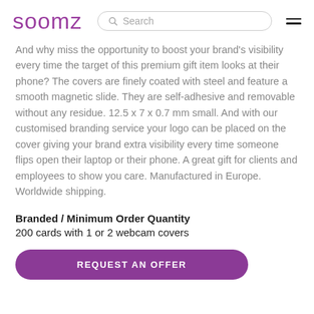soomz  Search
And why miss the opportunity to boost your brand's visibility every time the target of this premium gift item looks at their phone? The covers are finely coated with steel and feature a smooth magnetic slide. They are self-adhesive and removable without any residue. 12.5 x 7 x 0.7 mm small. And with our customised branding service your logo can be placed on the cover giving your brand extra visibility every time someone flips open their laptop or their phone. A great gift for clients and employees to show you care. Manufactured in Europe. Worldwide shipping.
Branded / Minimum Order Quantity
200 cards with 1 or 2 webcam covers
REQUEST AN OFFER